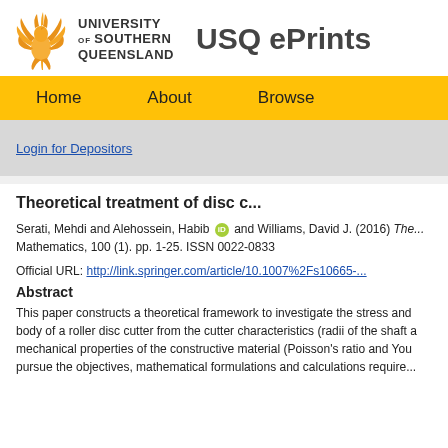[Figure (logo): University of Southern Queensland phoenix logo with text and USQ ePrints heading]
Home   About   Browse
Login for Depositors
Theoretical treatment of disc c...
Serati, Mehdi and Alehossein, Habib [ORCID] and Williams, David J. (2016) The... Mathematics, 100 (1). pp. 1-25. ISSN 0022-0833
Official URL: http://link.springer.com/article/10.1007%2Fs10665-...
Abstract
This paper constructs a theoretical framework to investigate the stress and body of a roller disc cutter from the cutter characteristics (radii of the shaft a mechanical properties of the constructive material (Poisson's ratio and You pursue the objectives, mathematical formulations and calculations require...